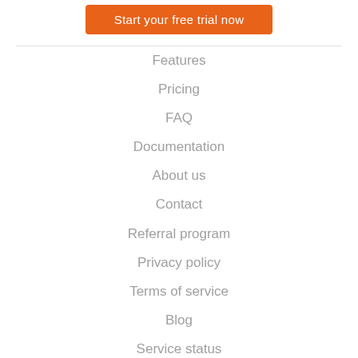Start your free trial now
Features
Pricing
FAQ
Documentation
About us
Contact
Referral program
Privacy policy
Terms of service
Blog
Service status
Follow us on Twitter